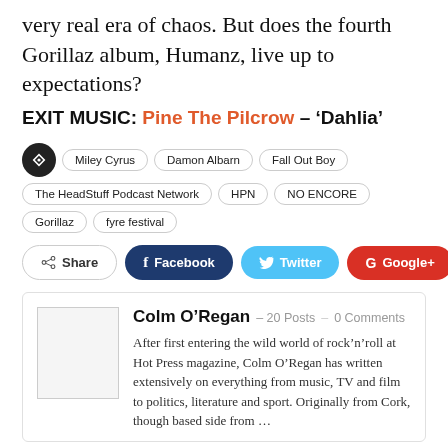very real era of chaos. But does the fourth Gorillaz album, Humanz, live up to expectations?
EXIT MUSIC: Pine The Pilcrow – ‘Dahlia’
Tags: Miley Cyrus, Damon Albarn, Fall Out Boy, The HeadStuff Podcast Network, HPN, NO ENCORE, Gorillaz, fyre festival
Share | Facebook | Twitter | Google+
Colm O’Regan – 20 Posts – 0 Comments
After first entering the wild world of rock’n’roll at Hot Press magazine, Colm O’Regan has written extensively on everything from music, TV and film to politics, literature and sport. Originally from Cork, though based side from...